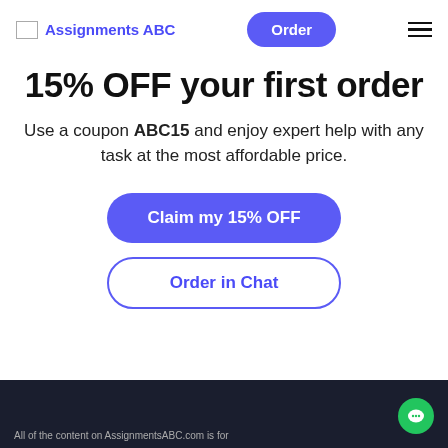Assignments ABC  Order
15% OFF your first order
Use a coupon ABC15 and enjoy expert help with any task at the most affordable price.
[Figure (other): Blue rounded button labeled 'Claim my 15% OFF']
[Figure (other): White outlined rounded button labeled 'Order in Chat' with blue text]
All of the content on AssignmentsABC.com is for